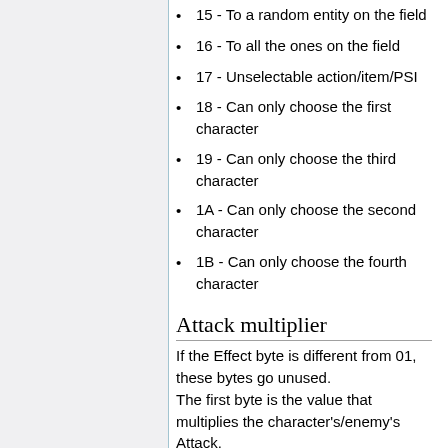15 - To a random entity on the field
16 - To all the ones on the field
17 - Unselectable action/item/PSI
18 - Can only choose the first character
19 - Can only choose the third character
1A - Can only choose the second character
1B - Can only choose the fourth character
Attack multiplier
If the Effect byte is different from 01, these bytes go unused.
The first byte is the value that multiplies the character's/enemy's Attack.
Together with weaknesses, defense and shields, the result determines the